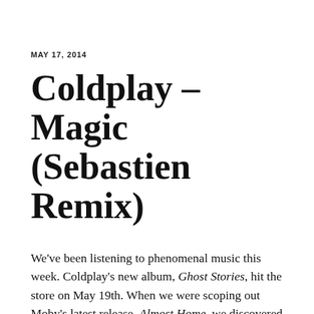MAY 17, 2014
Coldplay – Magic (Sebastien Remix)
We've been listening to phenomenal music this week. Coldplay's new album, Ghost Stories, hit the store on May 19th. When we were scoping out Moby's latest release, Almost Home, we discovered that the same DJ/Producer, Sebastien remixed that record and this one too! Of course, we had to just jump on the